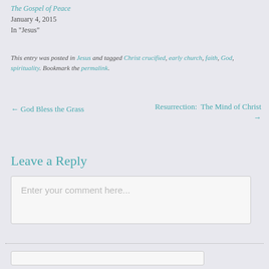The Gospel of Peace
January 4, 2015
In "Jesus"
This entry was posted in Jesus and tagged Christ crucified, early church, faith, God, spirituality. Bookmark the permalink.
← God Bless the Grass
Resurrection:  The Mind of Christ →
Leave a Reply
Enter your comment here...